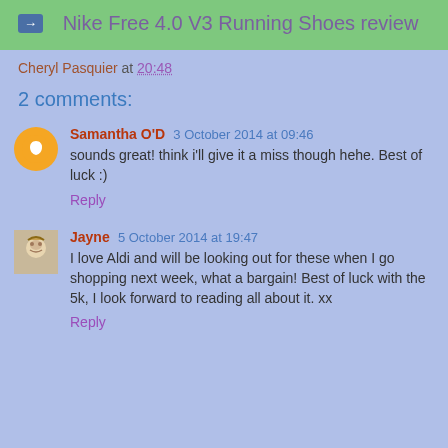Nike Free 4.0 V3 Running Shoes review
Cheryl Pasquier at 20:48
2 comments:
Samantha O'D  3 October 2014 at 09:46
sounds great! think i'll give it a miss though hehe. Best of luck :)
Reply
Jayne  5 October 2014 at 19:47
I love Aldi and will be looking out for these when I go shopping next week, what a bargain! Best of luck with the 5k, I look forward to reading all about it. xx
Reply